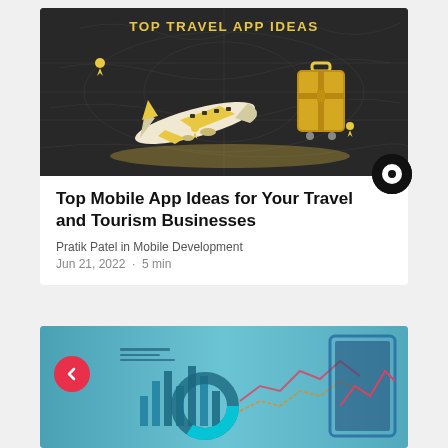[Figure (illustration): Dark background banner with 'TOP TRAVEL APP IDEAS' text in gold, featuring isometric illustration of airplane, luggage/suitcase, and location pins in gold and white tones]
Top Mobile App Ideas for Your Travel and Tourism Businesses
Pratik Patel in Mobile Development
Jun 21, 2022  ·  5 min
[Figure (photo): Blue-tinted photo of analytics/charts on a tablet/desk with a red back-arrow button overlay on the left side]